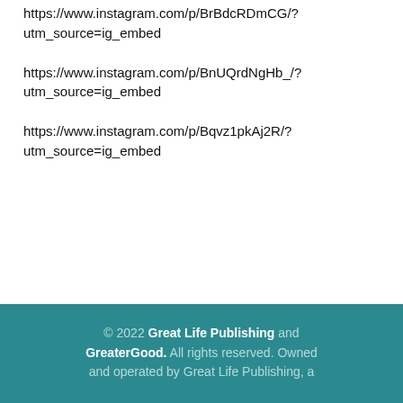https://www.instagram.com/p/BrBdcRDmCG/?utm_source=ig_embed
https://www.instagram.com/p/BnUQrdNgHb_/?utm_source=ig_embed
https://www.instagram.com/p/Bqvz1pkAj2R/?utm_source=ig_embed
© 2022 Great Life Publishing and GreaterGood. All rights reserved. Owned and operated by Great Life Publishing, a